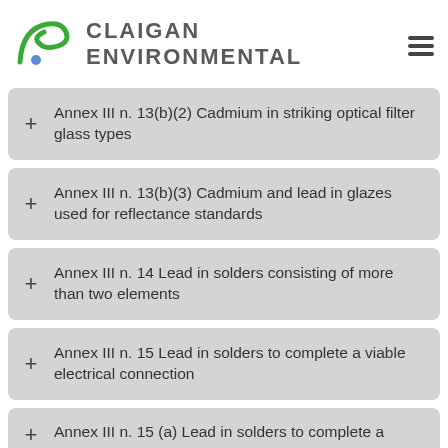[Figure (logo): Claigan Environmental logo with green swoosh and blue dot, and hamburger menu icon]
Annex III n. 13(b)(2) Cadmium in striking optical filter glass types
Annex III n. 13(b)(3) Cadmium and lead in glazes used for reflectance standards
Annex III n. 14 Lead in solders consisting of more than two elements
Annex III n. 15 Lead in solders to complete a viable electrical connection
Annex III n. 15 (a) Lead in solders to complete a